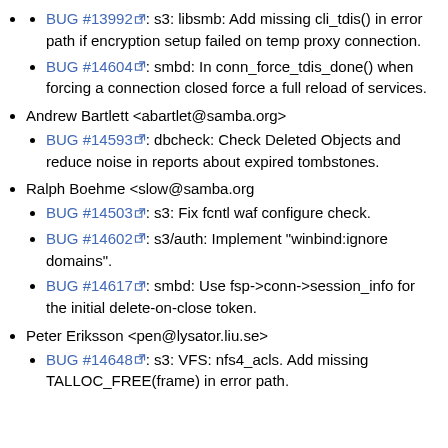BUG #13992: s3: libsmb: Add missing cli_tdis() in error path if encryption setup failed on temp proxy connection.
BUG #14604: smbd: In conn_force_tdis_done() when forcing a connection closed force a full reload of services.
Andrew Bartlett <abartlet@samba.org>
BUG #14593: dbcheck: Check Deleted Objects and reduce noise in reports about expired tombstones.
Ralph Boehme <slow@samba.org
BUG #14503: s3: Fix fcntl waf configure check.
BUG #14602: s3/auth: Implement "winbind:ignore domains".
BUG #14617: smbd: Use fsp->conn->session_info for the initial delete-on-close token.
Peter Eriksson <pen@lysator.liu.se>
BUG #14648: s3: VFS: nfs4_acls. Add missing TALLOC_FREE(frame) in error path.